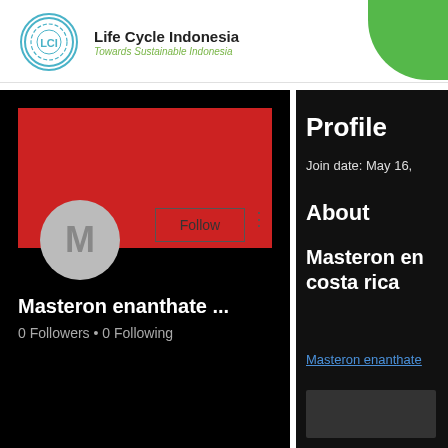[Figure (logo): Life Cycle Indonesia logo with circular LCI emblem and green tagline text]
Life Cycle Indonesia
Towards Sustainable Indonesia
[Figure (screenshot): User profile page on dark background with red banner, avatar M, Follow button, username Masteron enanthate ..., 0 Followers • 0 Following]
Masteron enanthate ...
0 Followers • 0 Following
Profile
Join date: May 16,
About
Masteron en
costa rica
Masteron enanthate